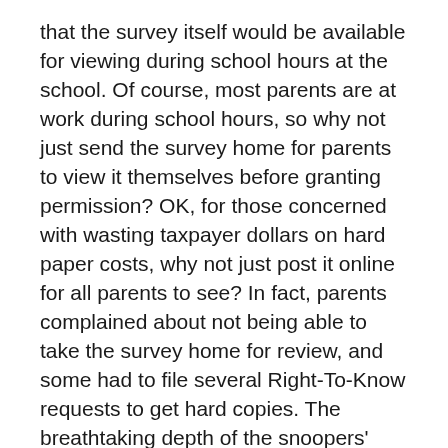that the survey itself would be available for viewing during school hours at the school. Of course, most parents are at work during school hours, so why not just send the survey home for parents to view it themselves before granting permission? OK, for those concerned with wasting taxpayer dollars on hard paper costs, why not just post it online for all parents to see? In fact, parents complained about not being able to take the survey home for review, and some had to file several Right-To-Know requests to get hard copies. The breathtaking depth of the snoopers' nosiness is surpassed only by their zeal to deceive and circumvent parents.
*Questions extracted from a survey given to students as young as 5th graders.